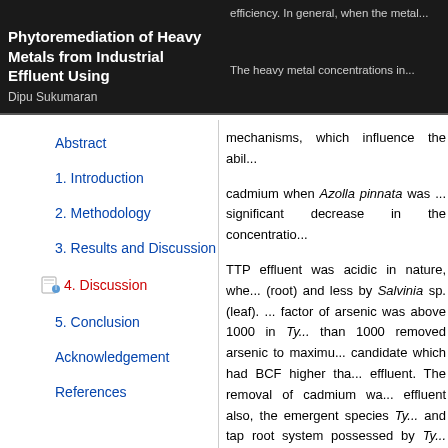Phytoremediation of Heavy Metals from Industrial Effluent Using
Dipu Sukumaran
efficiency. In general, when the meta...
The heavy metal concentrations in...
Abstract
1. Introduction
2. Methodology
3. Results and Discussion
4. Discussion
5. Conclusion
Acknowledgement
References
mechanisms, which influence the abil...
cadmium when Azolla pinnata was ... significant decrease in the concentratio...
TTP effluent was acidic in nature, whe... (root) and less by Salvinia sp. (leaf). ... factor of arsenic was above 1000 in Ty... than 1000 removed arsenic to maximu... candidate which had BCF higher tha... effluent. The removal of cadmium wa... effluent also, the emergent species Ty... and tap root system possessed by Ty... floating macrophytes Eichhornia sp., S...
The appropriateness of a plant for phy... generally considered a positive plant f... below 1000; these plants could be co... (92 per cent), copper (70 per cent) anc...